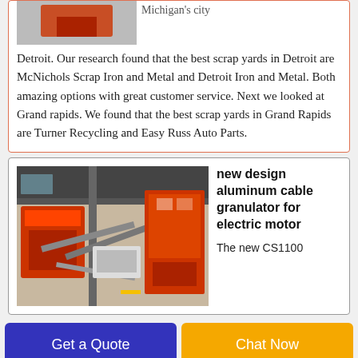Michigan's city Detroit. Our research found that the best scrap yards in Detroit are McNichols Scrap Iron and Metal and Detroit Iron and Metal. Both amazing options with great customer service. Next we looked at Grand rapids. We found that the best scrap yards in Grand Rapids are Turner Recycling and Easy Russ Auto Parts.
[Figure (photo): Industrial warehouse with red cable granulator machines and conveyor belts]
new design aluminum cable granulator for electric motor
The new CS1100
Get a Quote
Chat Now